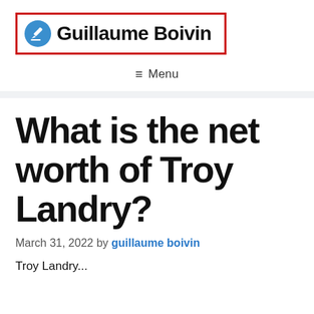Guillaume Boivin
≡ Menu
What is the net worth of Troy Landry?
March 31, 2022 by guillaume boivin
Troy Landry ...